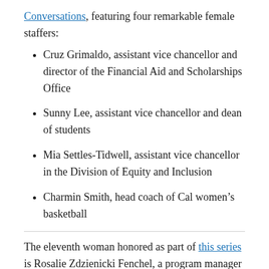Conversations, featuring four remarkable female staffers:
Cruz Grimaldo, assistant vice chancellor and director of the Financial Aid and Scholarships Office
Sunny Lee, assistant vice chancellor and dean of students
Mia Settles-Tidwell, assistant vice chancellor in the Division of Equity and Inclusion
Charmin Smith, head coach of Cal women’s basketball
The eleventh woman honored as part of this series is Rosalie Zdzienicki Fenchel, a program manager at the